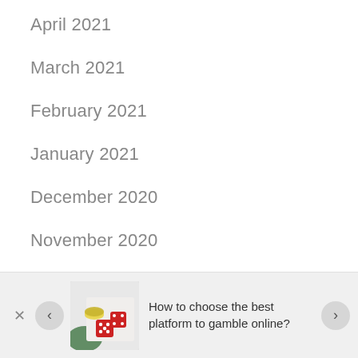April 2021
March 2021
February 2021
January 2021
December 2020
November 2020
October 2020
[Figure (photo): Red dice and casino chips on a white surface]
How to choose the best platform to gamble online?